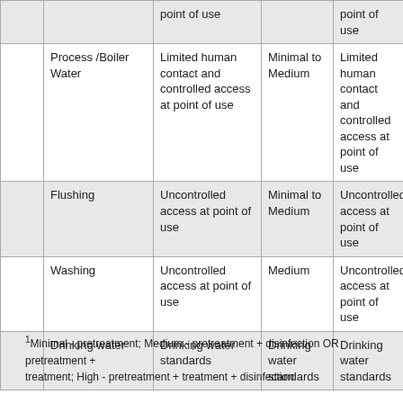|  |  | point of use |  | point of use |
| --- | --- | --- | --- | --- |
|  | Process /Boiler Water | Limited human contact and controlled access at point of use | Minimal to Medium | Limited human contact and controlled access at point of use |
|  | Flushing | Uncontrolled access at point of use | Minimal to Medium | Uncontrolled access at point of use |
|  | Washing | Uncontrolled access at point of use | Medium | Uncontrolled access at point of use |
|  | Drinking water | Drinking water standards | Drinking water standards | Drinking water standards |
1Minimal - pretreatment; Medium - pretreatment + disinfection OR pretreatment + treatment; High - pretreatment + treatment + disinfection